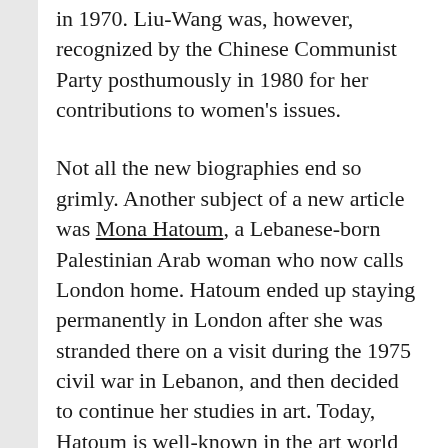in 1970. Liu-Wang was, however, recognized by the Chinese Communist Party posthumously in 1980 for her contributions to women's issues.
Not all the new biographies end so grimly. Another subject of a new article was Mona Hatoum, a Lebanese-born Palestinian Arab woman who now calls London home. Hatoum ended up staying permanently in London after she was stranded there on a visit during the 1975 civil war in Lebanon, and then decided to continue her studies in art. Today, Hatoum is well-known in the art world as a feminist whose work finds ways to marry politics to the psychological and